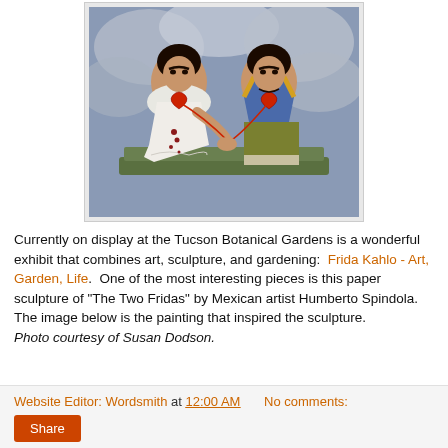[Figure (illustration): Painting 'The Two Fridas' by Frida Kahlo — two women seated side by side holding hands, one in white European dress and one in yellow/blue Tehuana dress, both with exposed hearts connected by a blood vessel, against a cloudy sky background.]
Currently on display at the Tucson Botanical Gardens is a wonderful exhibit that combines art, sculpture, and gardening:  Frida Kahlo - Art, Garden, Life.  One of the most interesting pieces is this paper sculpture of "The Two Fridas" by Mexican artist Humberto Spindola. The image below is the painting that inspired the sculpture.
Photo courtesy of Susan Dodson.
Website Editor: Wordsmith at 12:00 AM    No comments:
Share